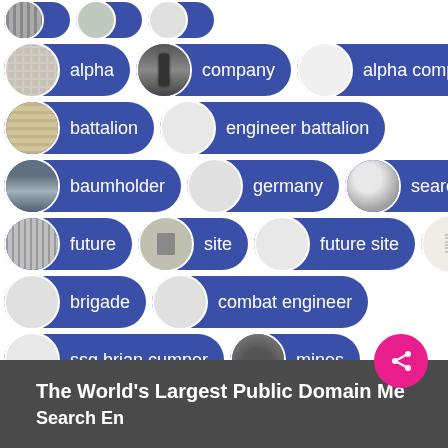[Figure (screenshot): Search tag suggestions UI showing blue pill-shaped tags with circular image thumbnails and labels: alpha, company, alpha company, battalion, engineer battalion, baumholder, germany, searches, future, site, future site, signal, brigade, combat engineer, ssg brian cumper, mines, signal brigade, joint endeavor]
The World's Largest Public Domain Me... Search En...